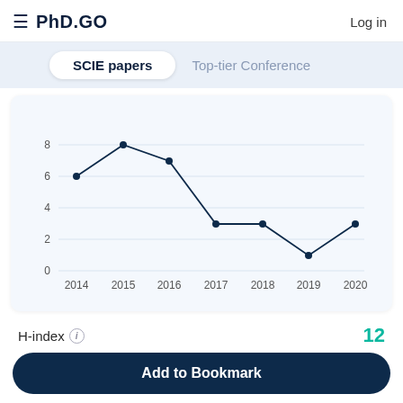≡ PhD.GO   Log in
SCIE papers   Top-tier Conference
[Figure (line-chart): SCIE papers by year]
H-index ⓘ
12
Add to Bookmark
Number of papers ⓘ
0